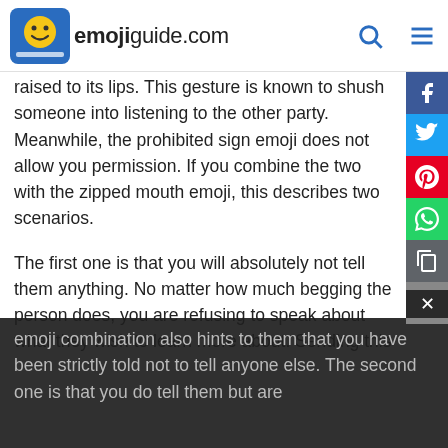emojiguide.com
raised to its lips. This gesture is known to shush someone into listening to the other party. Meanwhile, the prohibited sign emoji does not allow you permission. If you combine the two with the zipped mouth emoji, this describes two scenarios.
The first one is that you will absolutely not tell them anything. No matter how much begging the person does, you are refusing to speak about what they wish to learn more about. Sending this emoji combination also hints to them that you have been strictly told not to tell anyone else. The second one is that you do tell them but are